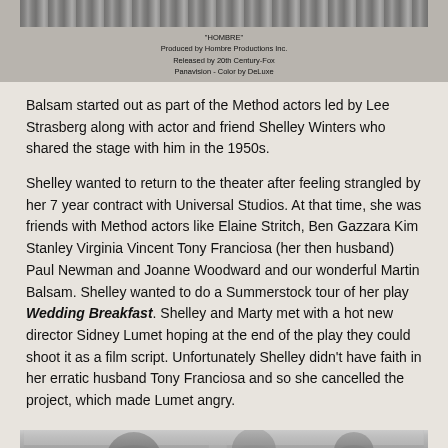[Figure (photo): Black and white film still with caption text below: 'HOMBRE' Produced by Hombre Productions Inc., Released by 20th Century-Fox, Panavision - Color by DeLuxe]
"HOMBRE"
Produced by Hombre Productions Inc.
Released by 20th Century-Fox
Panavision - Color by DeLuxe
Balsam started out as part of the Method actors led by Lee Strasberg along with actor and friend Shelley Winters who shared the stage with him in the 1950s.
Shelley wanted to return to the theater after feeling strangled by her 7 year contract with Universal Studios. At that time, she was friends with Method actors like Elaine Stritch, Ben Gazzara Kim Stanley Virginia Vincent Tony Franciosa (her then husband) Paul Newman and Joanne Woodward and our wonderful Martin Balsam. Shelley wanted to do a Summerstock tour of her play Wedding Breakfast. Shelley and Marty met with a hot new director Sidney Lumet hoping at the end of the play they could shoot it as a film script. Unfortunately Shelley didn't have faith in her erratic husband Tony Franciosa and so she cancelled the project, which made Lumet angry.
[Figure (photo): Black and white photo of people at what appears to be an awards ceremony, with an Oscar statue visible.]